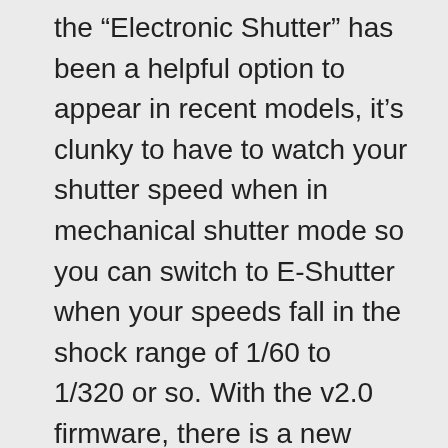the “Electronic Shutter” has been a helpful option to appear in recent models, it’s clunky to have to watch your shutter speed when in mechanical shutter mode so you can switch to E-Shutter when your speeds fall in the shock range of 1/60 to 1/320 or so. With the v2.0 firmware, there is a new setting called “Auto” in the “Electronic Shutter” item of the “Rec” menu number 5/8. This allows you to stay in mechanical shutter mode and the camera will automatically switch to E-Shutter if your shutter speed overlaps with a known shock speed.